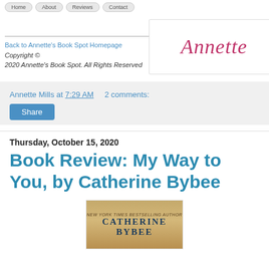[navigation buttons row]
[Figure (logo): Annette signature logo in pink/crimson cursive script on white background with border]
Back to Annette's Book Spot Homepage  Copyright © 2020 Annette's Book Spot. All Rights Reserved
Annette Mills at 7:29 AM    2 comments:
Share
Thursday, October 15, 2020
Book Review: My Way to You, by Catherine Bybee
[Figure (photo): Book cover for 'My Way to You' by Catherine Bybee — golden/amber toned cover showing author name]